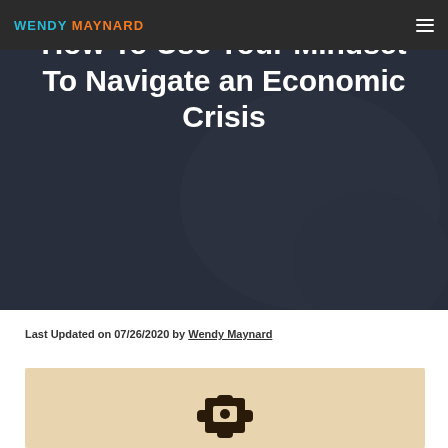WENDY MAYNARD
How To Use Your Mindset To Navigate an Economic Crisis
Last Updated on 07/26/2020 by Wendy Maynard
[Figure (photo): Partial view of a puzzle piece figure on a warm beige/cream background]